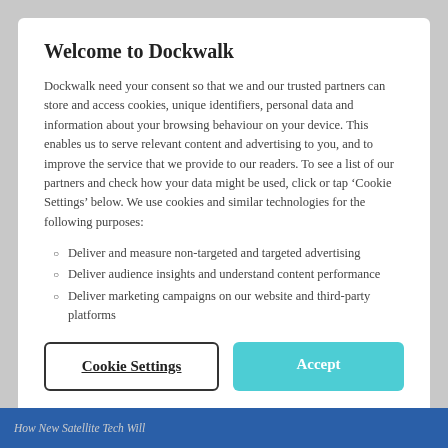Welcome to Dockwalk
Dockwalk need your consent so that we and our trusted partners can store and access cookies, unique identifiers, personal data and information about your browsing behaviour on your device. This enables us to serve relevant content and advertising to you, and to improve the service that we provide to our readers. To see a list of our partners and check how your data might be used, click or tap ‘Cookie Settings’ below. We use cookies and similar technologies for the following purposes:
Deliver and measure non-targeted and targeted advertising
Deliver audience insights and understand content performance
Deliver marketing campaigns on our website and third-party platforms
Cookie Settings | Accept